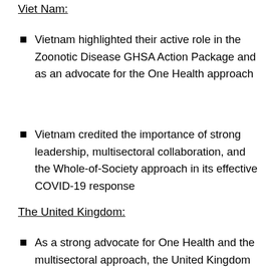Viet Nam:
Vietnam highlighted their active role in the Zoonotic Disease GHSA Action Package and as an advocate for the One Health approach
Vietnam credited the importance of strong leadership, multisectoral collaboration, and the Whole-of-Society approach in its effective COVID-19 response
The United Kingdom:
As a strong advocate for One Health and the multisectoral approach, the United Kingdom